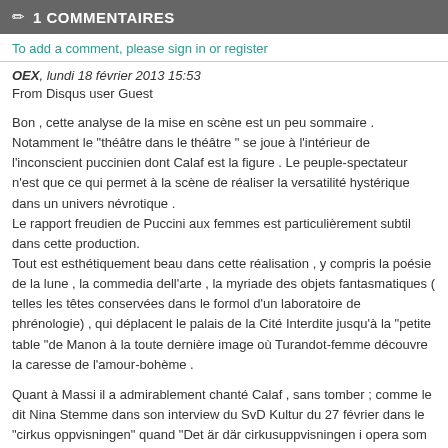✏ 1 COMMENTAIRES
To add a comment, please sign in or register
OEX, lundi 18 février 2013 15:53
From Disqus user Guest
Bon , cette analyse de la mise en scène est un peu sommaire . Notamment le "théâtre dans le théâtre " se joue à l'intérieur de l'inconscient puccinien dont Calaf est la figure . Le peuple-spectateur n'est que ce qui permet à la scène de réaliser la versatilité hystérique dans un univers névrotique .
Le rapport freudien de Puccini aux femmes est particulièrement subtil dans cette production.
Tout est esthétiquement beau dans cette réalisation , y compris la poésie de la lune , la commedia dell'arte , la myriade des objets fantasmatiques ( telles les têtes conservées dans le formol d'un laboratoire de phrénologie) , qui déplacent le palais de la Cité Interdite jusqu'à la "petite table "de Manon à la toute dernière image où Turandot-femme découvre la caresse de l'amour-bohème .
Quant à Massi il a admirablement chanté Calaf , sans tomber ; comme le dit Nina Stemme dans son interview du SvD Kultur du 27 février dans le "cirkus oppvisningen" quand "Det är där cirkusuppvisningen i opera som konstart kommer in." La voix est belle , il chante et ne crie pas !
Bravo ! Et Nina Stemme , la meilleure Turandot du dernier demi-siècle .Bien sûr